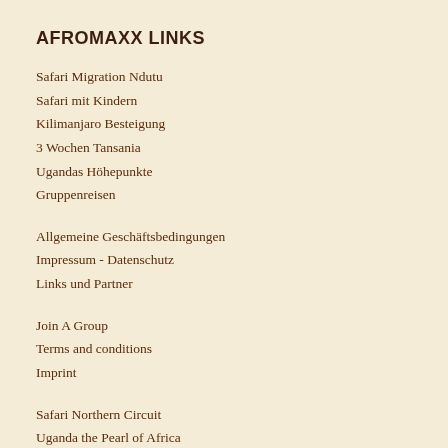AFROMAXX LINKS
Safari Migration Ndutu
Safari mit Kindern
Kilimanjaro Besteigung
3 Wochen Tansania
Ugandas Höhepunkte
Gruppenreisen
Allgemeine Geschäftsbedingungen
Impressum - Datenschutz
Links und Partner
Join A Group
Terms and conditions
Imprint
Safari Northern Circuit
Uganda the Pearl of Africa
Kilimanjaro Trekking - Marangu
Mount Meru Climb